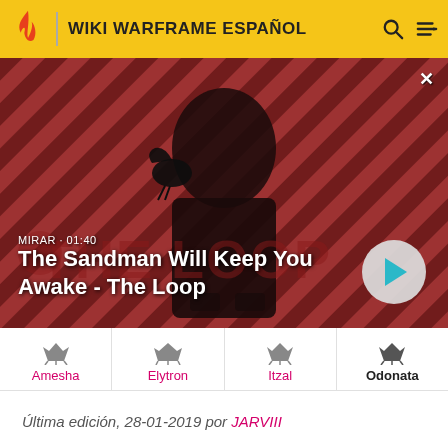WIKI WARFRAME ESPAÑOL
[Figure (screenshot): Video thumbnail showing a dark figure with a raven on their shoulder against a red and dark diagonal striped background. Title reads 'The Sandman Will Keep You Awake - The Loop' with MIRAR · 01:40 label and a play button.]
Amesha
Elytron
Itzal
Odonata
Última edición, 28-01-2019 por JARVIII